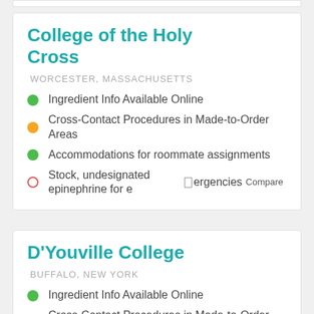College of the Holy Cross
WORCESTER, MASSACHUSETTS
Ingredient Info Available Online
Cross-Contact Procedures in Made-to-Order Areas
Accommodations for roommate assignments
Stock, undesignated epinephrine for emergencies
D'Youville College
BUFFALO, NEW YORK
Ingredient Info Available Online
Cross-Contact Procedures in Made-to-Order Areas